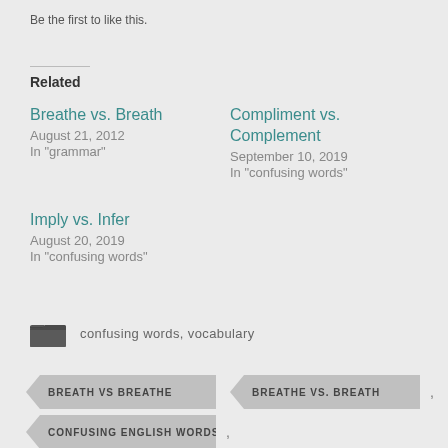Be the first to like this.
Related
Breathe vs. Breath
August 21, 2012
In "grammar"
Compliment vs. Complement
September 10, 2019
In "confusing words"
Imply vs. Infer
August 20, 2019
In "confusing words"
confusing words, vocabulary
BREATH VS BREATHE , BREATHE VS. BREATH ,
CONFUSING ENGLISH WORDS ,